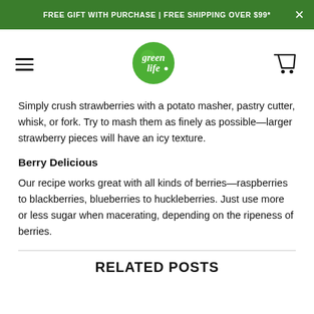FREE GIFT WITH PURCHASE | FREE SHIPPING OVER $99*
[Figure (logo): Green Life logo — green leaf-shaped badge with white cursive text 'green life']
Simply crush strawberries with a potato masher, pastry cutter, whisk, or fork. Try to mash them as finely as possible—larger strawberry pieces will have an icy texture.
Berry Delicious
Our recipe works great with all kinds of berries—raspberries to blackberries, blueberries to huckleberries. Just use more or less sugar when macerating, depending on the ripeness of berries.
RELATED POSTS